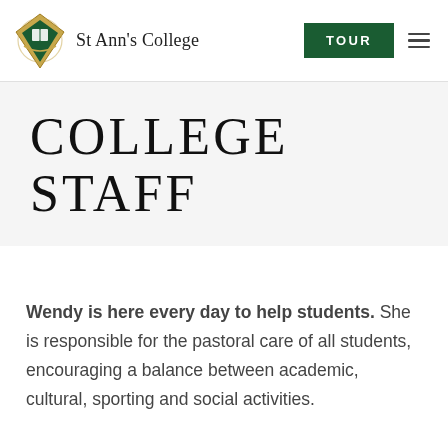St Ann's College
COLLEGE STAFF
Wendy is here every day to help students. She is responsible for the pastoral care of all students, encouraging a balance between academic, cultural, sporting and social activities.